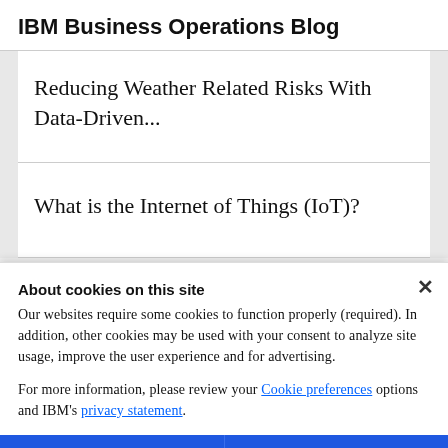IBM Business Operations Blog
Reducing Weather Related Risks With Data-Driven...
What is the Internet of Things (IoT)?
About cookies on this site
Our websites require some cookies to function properly (required). In addition, other cookies may be used with your consent to analyze site usage, improve the user experience and for advertising.
For more information, please review your Cookie preferences options and IBM's privacy statement.
Required only
Accept all